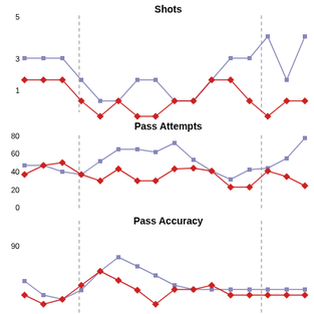[Figure (line-chart): Three vertically stacked line charts: Shots (y 0-5), Pass Attempts (y 0-80), Pass Accuracy (y ~80-90+). Two series each: blue squares and red diamonds. Dashed vertical lines at approximately game 3 and game 13.]